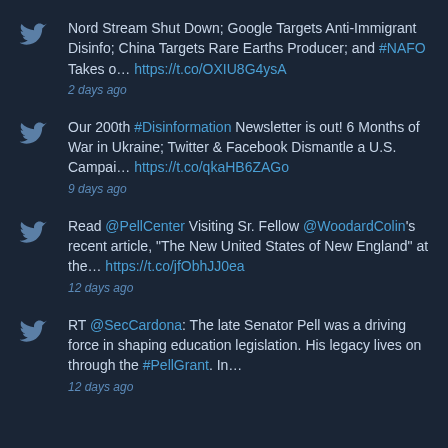Nord Stream Shut Down; Google Targets Anti-Immigrant Disinfo; China Targets Rare Earths Producer; and #NAFO Takes o… https://t.co/OXIU8G4ysA
2 days ago
Our 200th #Disinformation Newsletter is out! 6 Months of War in Ukraine; Twitter & Facebook Dismantle a U.S. Campai… https://t.co/qkaHB6ZAGo
9 days ago
Read @PellCenter Visiting Sr. Fellow @WoodardColin's recent article, "The New United States of New England" at the… https://t.co/jfObhJJ0ea
12 days ago
RT @SecCardona: The late Senator Pell was a driving force in shaping education legislation. His legacy lives on through the #PellGrant. In…
12 days ago